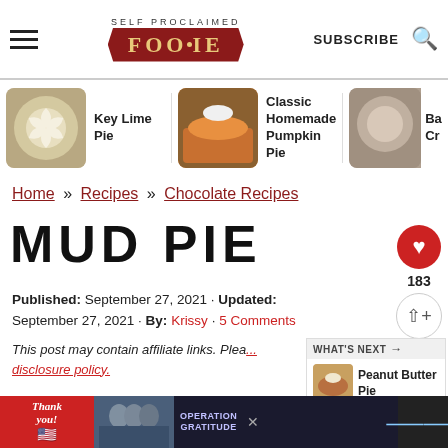SELF PROCLAIMED FOODIE — SUBSCRIBE
[Figure (illustration): Key Lime Pie thumbnail with text 'Key Lime Pie']
[Figure (illustration): Classic Homemade Pumpkin Pie thumbnail with text 'Classic Homemade Pumpkin Pie']
[Figure (illustration): Partially visible third pie thumbnail with partial text 'Ba Cr']
Home » Recipes » Chocolate Recipes
MUD PIE
Published: September 27, 2021 · Updated: September 27, 2021 · By: Krissy · 5 Comments
This post may contain affiliate links. Please read our disclosure policy.
WHAT'S NEXT → Peanut Butter Pie
↓ JUMP TO RECIPE
[Figure (photo): Advertisement banner: Operation Gratitude thank you ad with medical workers]